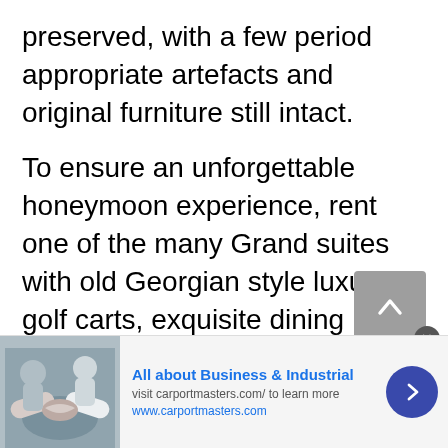preserved, with a few period appropriate artefacts and original furniture still intact.
To ensure an unforgettable honeymoon experience, rent one of the many Grand suites with old Georgian style luxury, golf carts, exquisite dining options, and be pampered by one of Catalina's best hotel staff.
[Figure (other): Advertisement banner: image of two people shaking hands, text 'All about Business & Industrial', 'visit carportmasters.com/ to learn more', 'www.carportmasters.com', with a blue arrow button on the right.]